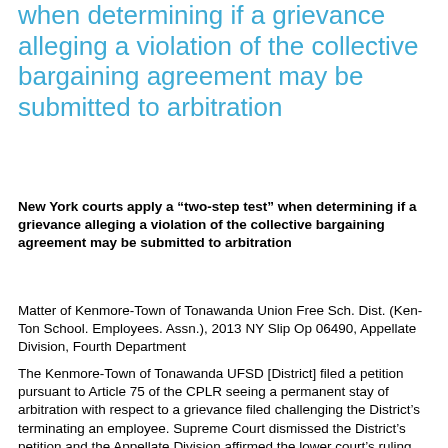when determining if a grievance alleging a violation of the collective bargaining agreement may be submitted to arbitration
New York courts apply a “two-step test” when determining if a grievance alleging a violation of the collective bargaining agreement may be submitted to arbitration
Matter of Kenmore-Town of Tonawanda Union Free Sch. Dist. (Ken-Ton School. Employees. Assn.), 2013 NY Slip Op 06490, Appellate Division, Fourth Department
The Kenmore-Town of Tonawanda UFSD [District] filed a petition pursuant to Article 75 of the CPLR seeing a permanent stay of arbitration with respect to a grievance filed challenging the District’s terminating an employee. Supreme Court dismissed the District’s petition and the Appellate Division affirmed the lower court’s ruling.